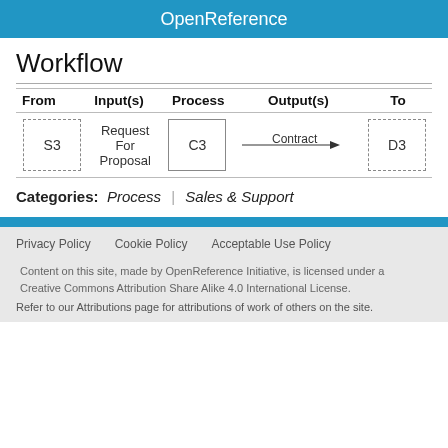OpenReference
Workflow
[Figure (flowchart): Workflow table diagram showing: From box S3 (dashed border), Input(s) 'Request For Proposal', Process box C3 (solid border), Output(s) 'Contract' with arrow, To box D3 (dashed border)]
Categories:  Process  |  Sales & Support
Privacy Policy   Cookie Policy   Acceptable Use Policy
Content on this site, made by OpenReference Initiative, is licensed under a Creative Commons Attribution Share Alike 4.0 International License.
Refer to our Attributions page for attributions of work of others on the site.